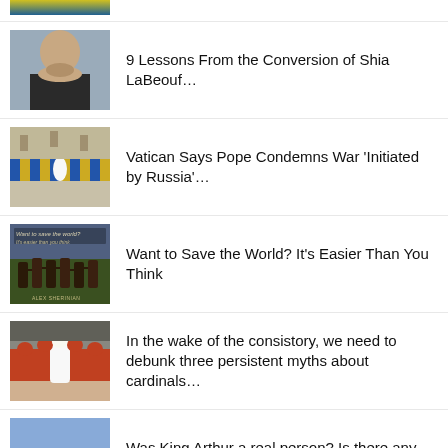[Figure (photo): Partially visible top news item with yellow/blue image thumbnail]
9 Lessons From the Conversion of Shia LaBeouf…
Vatican Says Pope Condemns War 'Initiated by Russia'…
Want to Save the World? It's Easier Than You Think
In the wake of the consistory, we need to debunk three persistent myths about cardinals…
Was King Arthur a real person? Is there any truth